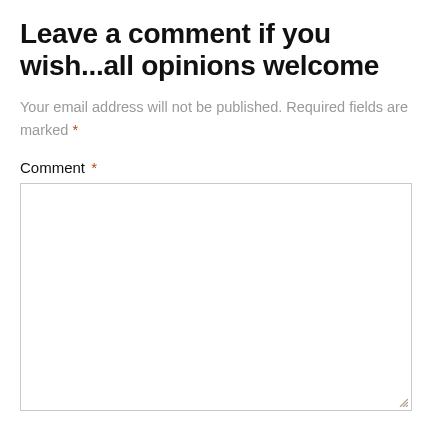Leave a comment if you wish...all opinions welcome
Your email address will not be published. Required fields are marked *
Comment *
[Figure (other): Empty comment text area input box with resize handle]